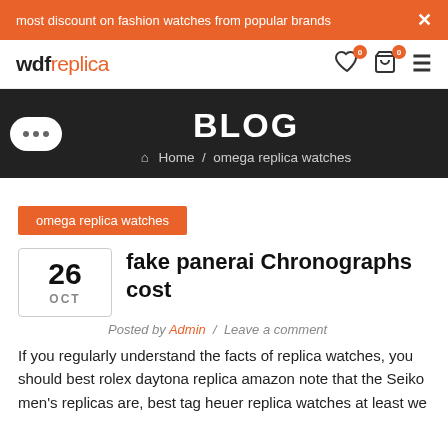most discount on fashion watches from popular brands
[Figure (logo): wdfreplica logo with navigation icons (heart, cart, hamburger menu)]
BLOG
Home / omega replica watches
omega replica watches
fake panerai Chronographs cost
Posted by Admin / Leave a comment
If you regularly understand the facts of replica watches, you should best rolex daytona replica amazon note that the Seiko men's replicas are, best tag heuer replica watches at least we